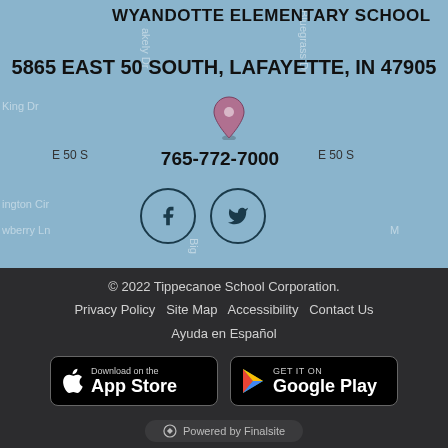[Figure (map): Map showing location of Wyandotte Elementary School at 5865 East 50 South, Lafayette, IN 47905 with a pin marker]
WYANDOTTE ELEMENTARY SCHOOL
5865 EAST 50 SOUTH, LAFAYETTE, IN 47905
765-772-7000
[Figure (other): Facebook and Twitter social media icon circles]
© 2022 Tippecanoe School Corporation.
Privacy Policy   Site Map   Accessibility   Contact Us
Ayuda en Español
[Figure (other): Download on the App Store button]
[Figure (other): GET IT ON Google Play button]
Powered by Finalsite